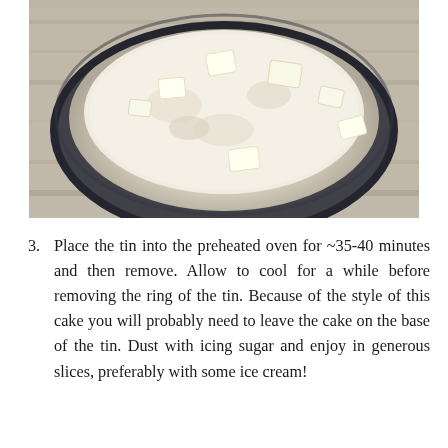[Figure (photo): A round dark baking tin filled with a cake mixture topped with white sugar/flour and chunks of butter, sitting on a wooden surface.]
3. Place the tin into the preheated oven for ~35-40 minutes and then remove. Allow to cool for a while before removing the ring of the tin. Because of the style of this cake you will probably need to leave the cake on the base of the tin. Dust with icing sugar and enjoy in generous slices, preferably with some ice cream!